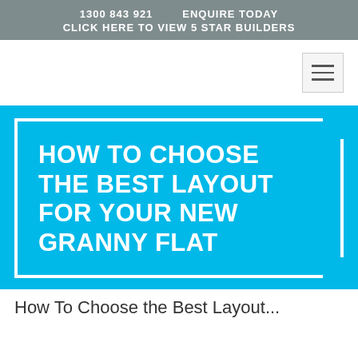1300 843 921    ENQUIRE TODAY
CLICK HERE TO VIEW 5 STAR BUILDERS
[Figure (other): Navigation bar with hamburger menu icon (three horizontal lines) on the right side, white background]
HOW TO CHOOSE THE BEST LAYOUT FOR YOUR NEW GRANNY FLAT
How To Choose the Best Layout...